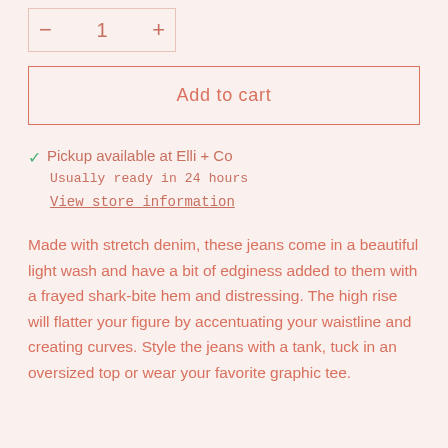- 1 +
Add to cart
✓ Pickup available at Elli + Co
Usually ready in 24 hours
View store information
Made with stretch denim, these jeans come in a beautiful light wash and have a bit of edginess added to them with a frayed shark-bite hem and distressing. The high rise will flatter your figure by accentuating your waistline and creating curves. Style the jeans with a tank, tuck in an oversized top or wear your favorite graphic tee.